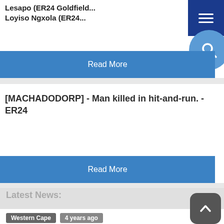Lesapo (ER24 Goldfield...
Loyiso Ngxola (ER24...
[Figure (other): Blue hamburger menu button (top right corner)]
[Figure (other): Blue circular search icon button]
Read More
[MACHADODORP] - Man killed in hit-and-run. - ER24
Read More
Latest News:
Western Cape  4 years ago
Former Western Cape Police Commissioner, Arno Lamoer, looking relaxed prior to sentencing in the
[Figure (other): Dark grey rounded square scroll-to-top button with upward arrow]